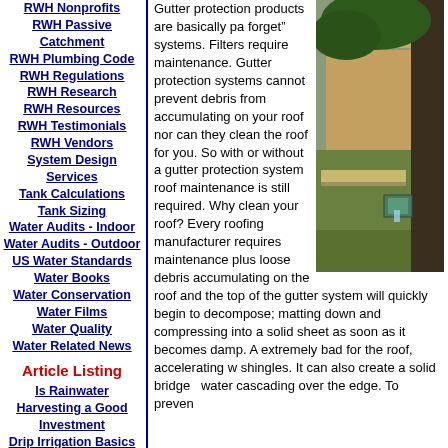RWH Nonprofits
RWH Passive Catchment
RWH Plumbing Code
RWH Regulations
RWH Research
RWH Resources
RWH Testimonials
RWH Vendors
System Design Services
Tank Calculations
Tank Sizing
Water Audits - Indoor
Water Audits - Outdoor
US Water Standards
Water Books
Water Conservation
Water Films
Water Quality
Water Related News
Article Listing
Is Rainwater Harvesting a Good Investment
Drip Irrigation Basics
Gutter protection products are basically pa... forget" systems. Filters require maintenance. Gutter protection systems cannot prevent debris from accumulating on your roof nor can they clean the roof for you. So with or without a gutter protection system roof maintenance is still required. Why clean your roof? Every roofing manufacturer requires maintenance plus loose debris accumulating on the roof and the top of the gutter system will quickly begin to decompose; matting down and compressing into a solid sheet as soon as it becomes damp. A... extremely bad for the roof, accelerating w... shingles. It can also create a solid bridge ... water cascading over the edge. To preven...
[Figure (photo): Outdoor photo showing a rainwater harvesting system with gutters and a downspout filter box installed at the base of a tree, with a long channel or swale running along a fence line.]